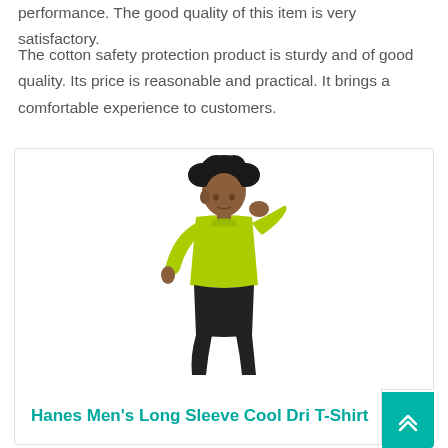performance. The good quality of this item is very satisfactory.
The cotton safety protection product is sturdy and of good quality. Its price is reasonable and practical. It brings a comfortable experience to customers.
[Figure (photo): Man wearing a yellow-green long sleeve athletic shirt and black shorts, posing with hand on neck against white background]
Hanes Men's Long Sleeve Cool Dri T-Shirt